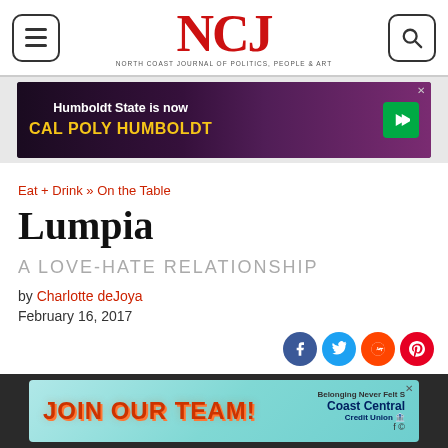NCJ - North Coast Journal of Politics, People & Art
[Figure (screenshot): Advertisement banner: Humboldt State is now Cal Poly Humboldt]
Eat + Drink » On the Table
Lumpia
A LOVE-HATE RELATIONSHIP
by Charlotte deJoya
February 16, 2017
[Figure (infographic): Social sharing icons: Facebook, Twitter, Reddit, Pinterest, and 2 comments with chevron]
[Figure (photo): Partial image of food at bottom of article]
[Figure (screenshot): Advertisement banner: Join Our Team! - Coast Central Credit Union]